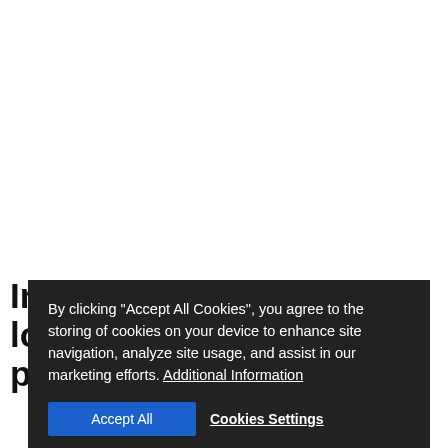By clicking "Accept All Cookies", you agree to the storing of cookies on your device to enhance site navigation, analyze site usage, and assist in our marketing efforts. Additional Information
Accept All    Cookies Settings
Index Living Mall unveils long-term energy-saving plan
Home » In-Focus » Index Living Mall Unveils Long-Term...
Share this article
Index Living Mall on Tuesday announced a